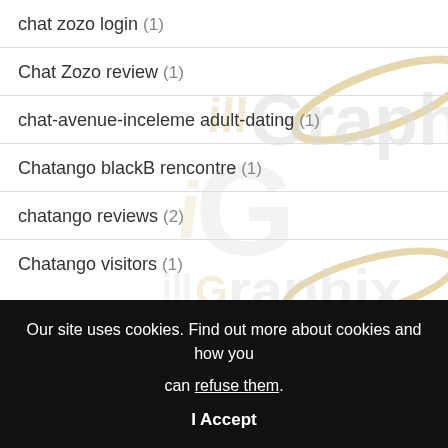chat zozo login (1)
Chat Zozo review (1)
chat-avenue-inceleme adult-dating (1)
Chatango blackB rencontre (1)
chatango reviews (2)
Chatango visitors (1)
Our site uses cookies. Find out more about cookies and how you can refuse them.
I Accept